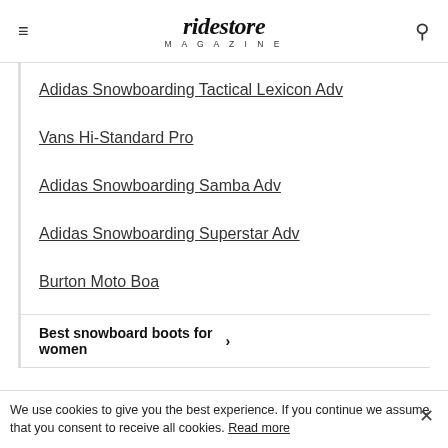ridestore MAGAZINE
Adidas Snowboarding Tactical Lexicon Adv
Vans Hi-Standard Pro
Adidas Snowboarding Samba Adv
Adidas Snowboarding Superstar Adv
Burton Moto Boa
Best snowboard boots for women
We use cookies to give you the best experience. If you continue we assume that you consent to receive all cookies. Read more